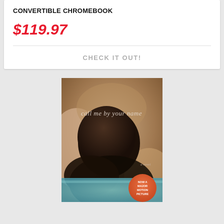CONVERTIBLE CHROMEBOOK
$119.97
CHECK IT OUT!
[Figure (photo): Book cover of 'Call Me by Your Name' — a close-up photo of a person's head resting on what appears to be a body in water, with tan/brown tones. Title text reads 'call me by your name' in light italic letters. A orange circular badge at the bottom right reads 'NOW A MAJOR MOTION PICTURE'.]